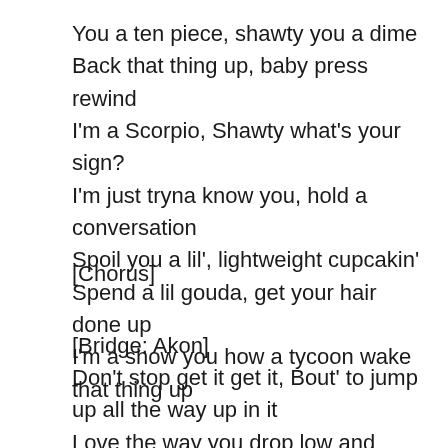You a ten piece, shawty you a dime
Back that thing up, baby press rewind
I'm a Scorpio, Shawty what's your sign?
I'm just tryna know you, hold a conversation
Spoil you a lil', lightweight cupcakin'
Spend a lil gouda, get your hair done up
I'm a show you how a tycoon wake that thing up
[Chorus]
[Bridge: Akon]
Don't stop get it get it, Bout' to jump up all the way up in it
Love the way you drop low and bend it